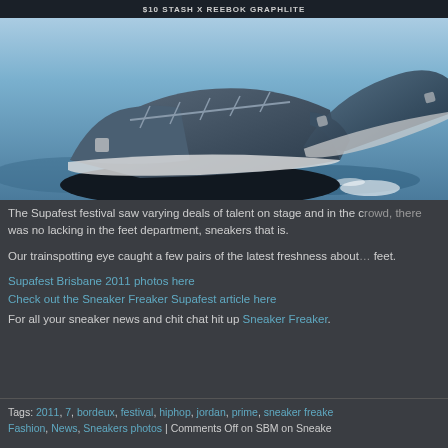[Figure (photo): Close-up photo of blue/grey Stash x Reebok Graphite sneakers floating above a blue misty water/sky background. A banner at the top reads '$10... STASH X REEBOK GRAPHLITE'.]
The Supafest festival saw varying deals of talent on stage and in the crowd, there was no lacking in the feet department, sneakers that is.
Our trainspotting eye caught a few pairs of the latest freshness about on their feet.
Supafest Brisbane 2011 photos here
Check out the Sneaker Freaker Supafest article here
For all your sneaker news and chit chat hit up Sneaker Freaker.
Tags: 2011, 7, bordeux, festival, hiphop, jordan, prime, sneaker freake... Fashion, News, Sneakers photos | Comments Off on SBM on Sneake...